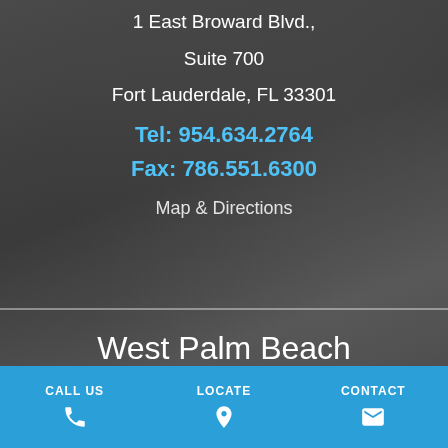1 East Broward Blvd.,
Suite 700
Fort Lauderdale, FL 33301
Tel: 954.634.2764
Fax: 786.551.6300
Map & Directions
West Palm Beach
1645 Palm Beach Lakes Blvd.
CALL US | LOCATE | CONTACT